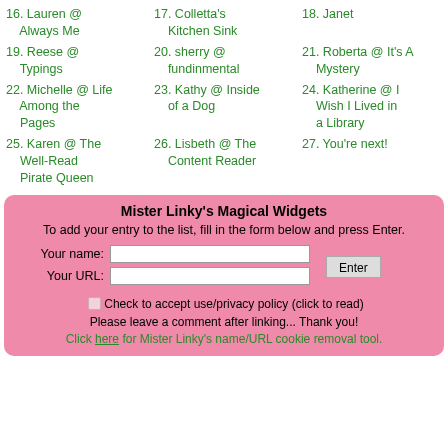16. Lauren @ Always Me
17. Colletta's Kitchen Sink
18. Janet
19. Reese @ Typings
20. sherry @ fundinmental
21. Roberta @ It's A Mystery
22. Michelle @ Life Among the Pages
23. Kathy @ Inside of a Dog
24. Katherine @ I Wish I Lived in a Library
25. Karen @ The Well-Read Pirate Queen
26. Lisbeth @ The Content Reader
27. You're next!
Mister Linky's Magical Widgets
To add your entry to the list, fill in the form below and press Enter.
Your name: [input] Your URL: [input] Enter button
Check to accept use/privacy policy (click to read)
Please leave a comment after linking... Thank you!
Click here for Mister Linky's name/URL cookie removal tool.